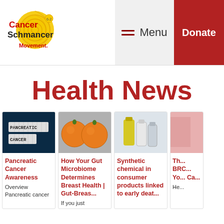Cancer Schmancer Movement | Menu | Donate
Health News
[Figure (screenshot): Card 1: Dark background with Scrabble tiles spelling PANCREATIC CANCER]
Pancreatic Cancer Awareness
Overview Pancreatic cancer
[Figure (photo): Card 2: Two oranges on gray background]
How Your Gut Microbiome Determines Breast Health | Gut-Breas...
If you just
[Figure (photo): Card 3: Yellow and clear bottles/containers]
Synthetic chemical in consumer products linked to early deat...
[Figure (photo): Card 4: Pink background partial]
Th... BRC... Yo... Ca...
He...